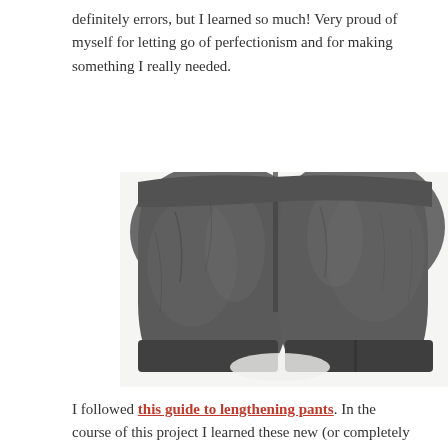definitely errors, but I learned so much! Very proud of myself for letting go of perfectionism and for making something I really needed.
[Figure (photo): Photo of dark charcoal grey leggings/pants laid flat on a white surface, showing the lower legs and hemmed cuffs from the front.]
I followed this guide to lengthening pants. In the course of this project I learned these new (or completely forgotten) skills: